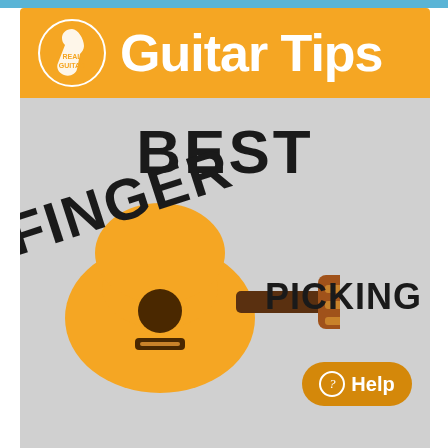[Figure (logo): Real Guitar logo with guitar silhouette icon and text REAL GUITAR inside oval]
Guitar Tips
[Figure (infographic): Infographic showing a flat guitar illustration on gray background with large bold text: BEST, FINGER, PICKING. An orange acoustic guitar is centered with its neck pointing right toward a brown headstock. A help button is in the bottom right corner.]